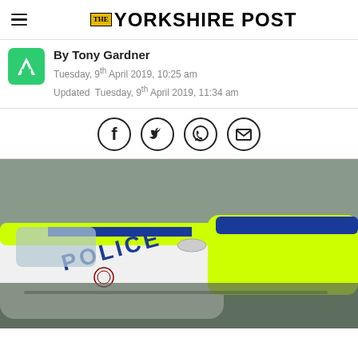THE YORKSHIRE POST
By Tony Gardner
Tuesday, 9th April 2019, 10:25 am
Updated  Tuesday, 9th April 2019, 11:34 am
[Figure (other): Social sharing icons: Facebook, Twitter, WhatsApp, Email]
[Figure (photo): Police cars with yellow and blue markings, POLICE written on bonnet hood]